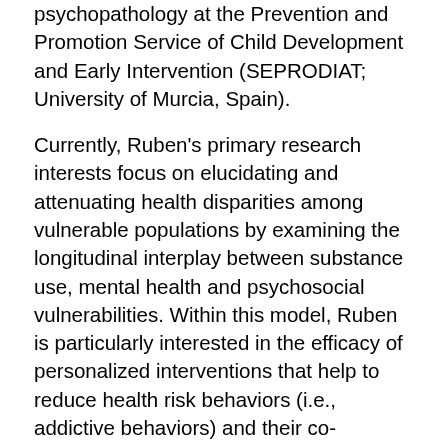psychopathology at the Prevention and Promotion Service of Child Development and Early Intervention (SEPRODIAT; University of Murcia, Spain).
Currently, Ruben's primary research interests focus on elucidating and attenuating health disparities among vulnerable populations by examining the longitudinal interplay between substance use, mental health and psychosocial vulnerabilities. Within this model, Ruben is particularly interested in the efficacy of personalized interventions that help to reduce health risk behaviors (i.e., addictive behaviors) and their co-occurring psychopathology among socioeconomic marginalized groups of population.
Ruben is also interested in using research efforts to